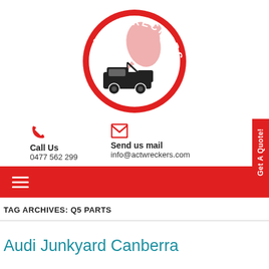[Figure (logo): ACT Wreckers circular logo with red border, kangaroo silhouette, tow truck, and stars]
Call Us
0477 562 299
Send us mail
info@actwreckers.com
TAG ARCHIVES: Q5 PARTS
Audi Junkyard Canberra